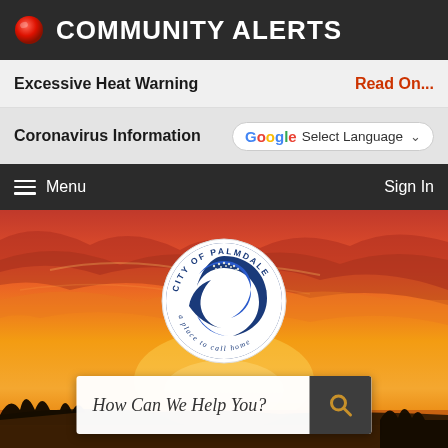COMMUNITY ALERTS
Excessive Heat Warning
Read On...
Coronavirus Information
Select Language
Menu
Sign In
[Figure (photo): Sunset sky with red and orange clouds over a silhouetted landscape, with City of Palmdale circular logo overlaid in the center. Text around logo reads 'CITY OF PALMDALE' and 'a place to call home']
How Can We Help You?